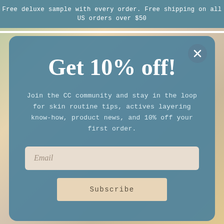Free deluxe sample with every order. Free shipping on all US orders over $50
[Figure (screenshot): Background showing skincare product bottles in pastel colors (pink, yellow, teal)]
Get 10% off!
Join the CC community and stay in the loop for skin routine tips, actives layering know-how, product news, and 10% off your first order.
Email
Subscribe